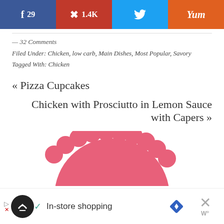[Figure (other): Social share buttons bar: Facebook (29), Pinterest (1.4K), Twitter, Yummly]
— 32 Comments
Filed Under: Chicken, low carb, Main Dishes, Most Popular, Savory
Tagged With: Chicken
« Pizza Cupcakes
Chicken with Prosciutto in Lemon Sauce with Capers »
[Figure (illustration): Pink scalloped semicircle decorative element (top of a round logo or badge)]
[Figure (other): Advertisement bar: In-store shopping with navigation icons and close button]